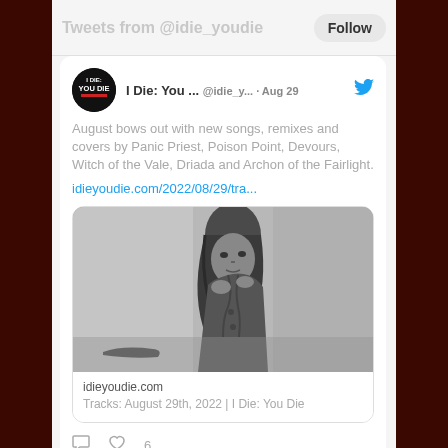Tweets from @idie_youdie
I Die: You ... @idie_y... · Aug 29
August bows out with new songs, remixes and covers by Panic Priest, Poison Point, Devours, Witch of the Vale, Driada and Archon of the Fairlight.
idieyoudie.com/2022/08/29/tra...
[Figure (photo): Black and white photo of a person with long hair wearing a leather jacket, looking at the camera with a serious expression.]
idieyoudie.com
Tracks: August 29th, 2022 | I Die: You Die
6